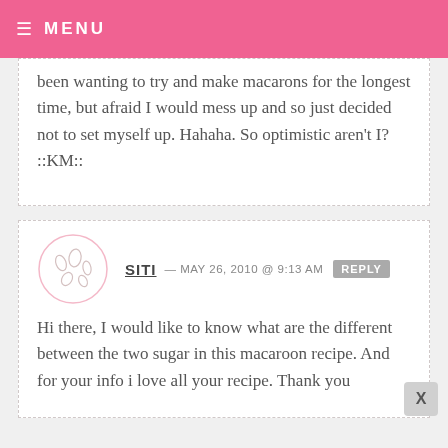MENU
been wanting to try and make macarons for the longest time, but afraid I would mess up and so just decided not to set myself up. Hahaha. So optimistic aren't I? ::KM::
SITI — MAY 26, 2010 @ 9:13 AM  REPLY
Hi there, I would like to know what are the different between the two sugar in this macaroon recipe. And for your info i love all your recipe. Thank you